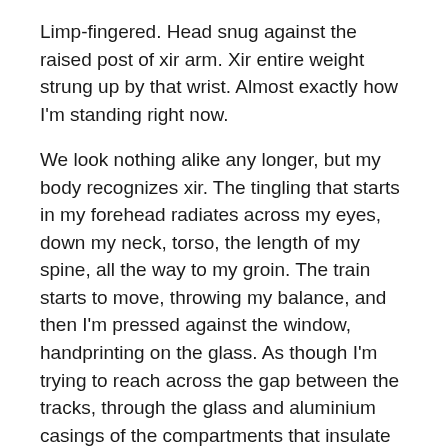Limp-fingered. Head snug against the raised post of xir arm. Xir entire weight strung up by that wrist. Almost exactly how I’m standing right now.
We look nothing alike any longer, but my body recognizes xir. The tingling that starts in my forehead radiates across my eyes, down my neck, torso, the length of my spine, all the way to my groin. The train starts to move, throwing my balance, and then I’m pressed against the window, handprinting on the glass. As though I’m trying to reach across the gap between the tracks, through the glass and aluminium casings of the compartments that insulate us against each other.
[Figure (illustration): Decorative section break: a wavy zigzag tilde-like ornament centered on the page]
I don’t have an explanation for what happened. All I know is I’d been feeling off for weeks.